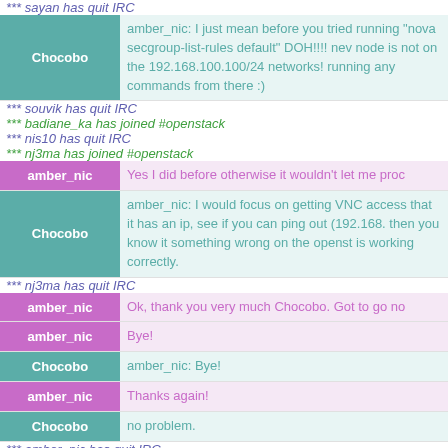*** sayan has quit IRC
Chocobo: amber_nic: I just mean before you tried running "nova secgroup-list-rules default" DOH!!!! node is not on the 192.168.100.100/24 networks! running any commands from there :)
*** souvik has quit IRC
*** badiane_ka has joined #openstack
*** nis10 has quit IRC
*** nj3ma has joined #openstack
amber_nic: Yes I did before otherwise it wouldn't let me proc
Chocobo: amber_nic: I would focus on getting VNC access that it has an ip, see if you can ping out (192.168. then you know it something wrong on the openst is working correctly.
*** nj3ma has quit IRC
amber_nic: Ok, thank you very much Chocobo. Got to go no
amber_nic: Bye!
Chocobo: amber_nic: Bye!
amber_nic: Thanks again!
Chocobo: no problem.
*** amber_nic has quit IRC
*** ioggstream has joined #openstack